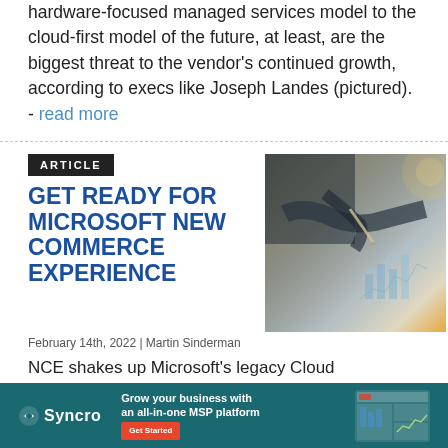hardware-focused managed services model to the cloud-first model of the future, at least, are the biggest threat to the vendor's continued growth, according to execs like Joseph Landes (pictured). - read more
ARTICLE
GET READY FOR MICROSOFT NEW COMMERCE EXPERIENCE
[Figure (photo): Photo of a person writing at a desk with financial charts and graphs visible in the background, dark moody lighting with warm orange tones]
February 14th, 2022 | Martin Sinderman
NCE shakes up Microsoft's legacy Cloud Solut... numer...
[Figure (infographic): Syncro advertisement banner: teal background with Syncro logo, tagline 'Grow your business with an all-in-one MSP platform', red Get Started button, and screenshot of the platform interface]